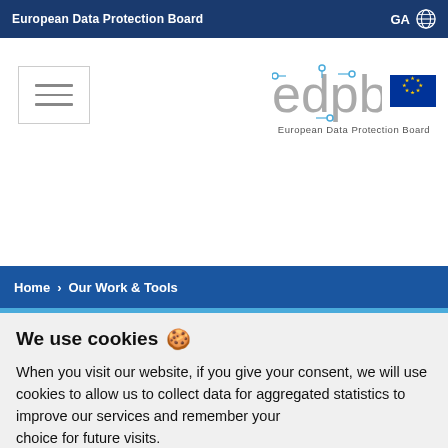European Data Protection Board | GA
[Figure (logo): Hamburger menu icon (three horizontal lines in a bordered box)]
[Figure (logo): EDPB logo with EU flag and text 'European Data Protection Board']
Home > Our Work & Tools
We use cookies 🍪
When you visit our website, if you give your consent, we will use cookies to allow us to collect data for aggregated statistics to improve our services and remember your choice for future visits.